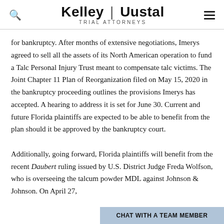Kelley | Uustal TRIAL ATTORNEYS
for bankruptcy. After months of extensive negotiations, Imerys agreed to sell all the assets of its North American operation to fund a Talc Personal Injury Trust meant to compensate talc victims. The Joint Chapter 11 Plan of Reorganization filed on May 15, 2020 in the bankruptcy proceeding outlines the provisions Imerys has accepted. A hearing to address it is set for June 30. Current and future Florida plaintiffs are expected to be able to benefit from the plan should it be approved by the bankruptcy court.
Additionally, going forward, Florida plaintiffs will benefit from the recent Daubert ruling issued by U.S. District Judge Freda Wolfson, who is overseeing the talcum powder MDL against Johnson & Johnson. On April 27,
CHAT WITH A TEAM MEMBER